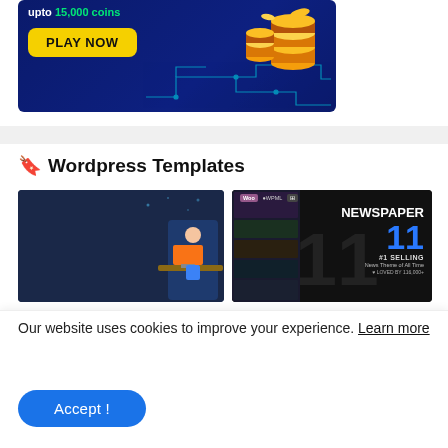[Figure (illustration): Dark blue promotional banner with 'upto 15,000 coins' text in white/green, yellow PLAY NOW button, and 3D gold coins stacked on right with circuit board pattern]
🔖 Wordpress Templates
[Figure (screenshot): WordPress Plugin for Building Block Themes WordCamp Asia + 5 More Updates - WBE Design card with GET STARTED button and 3D character at desk]
[Figure (screenshot): Newspaper 11 theme card - #1 SELLING News Theme of All Time, Loved by 116,000+, with Woo and WPML badges]
Our website uses cookies to improve your experience. Learn more
[Figure (other): Accept! cookie consent button in blue]